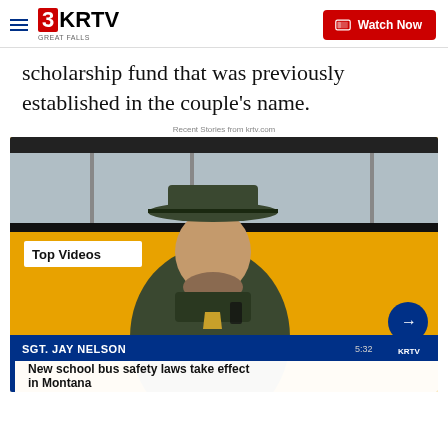3KRTV GREAT FALLS — Watch Now
scholarship fund that was previously established in the couple’s name.
Recent Stories from krtv.com
[Figure (screenshot): Video thumbnail showing a law enforcement officer (SGT. JAY NELSON) in uniform standing in front of a yellow school bus. Badge reads 'Top Videos'. Lower bar shows name 'SGT. JAY NELSON', timestamp '5:32', KRTV logo, and blue arrow button. Title bar reads 'New school bus safety laws take effect in Montana'.]
New school bus safety laws take effect in Montana